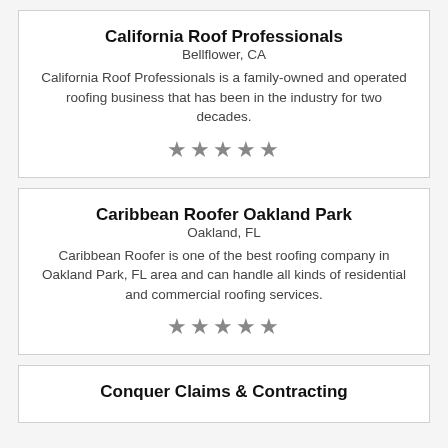California Roof Professionals
Bellflower, CA
California Roof Professionals is a family-owned and operated roofing business that has been in the industry for two decades.
★★★★★
Caribbean Roofer Oakland Park
Oakland, FL
Caribbean Roofer is one of the best roofing company in Oakland Park, FL area and can handle all kinds of residential and commercial roofing services.
★★★★★
Conquer Claims & Contracting